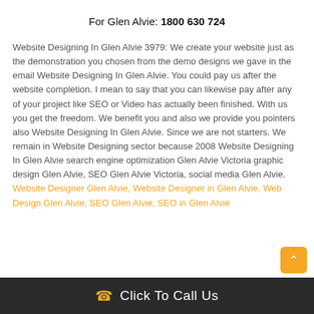For Glen Alvie: 1800 630 724
Website Designing In Glen Alvie 3979: We create your website just as the demonstration you chosen from the demo designs we gave in the email Website Designing In Glen Alvie. You could pay us after the website completion. I mean to say that you can likewise pay after any of your project like SEO or Video has actually been finished. With us you get the freedom. We benefit you and also we provide you pointers also Website Designing In Glen Alvie. Since we are not starters. We remain in Website Designing sector because 2008 Website Designing In Glen Alvie search engine optimization Glen Alvie Victoria graphic design Glen Alvie, SEO Glen Alvie Victoria, social media Glen Alvie.
Website Designer Glen Alvie, Website Designer in Glen Alvie, Web Design Glen Alvie, SEO Glen Alvie, SEO in Glen Alvie
Click To Call Us